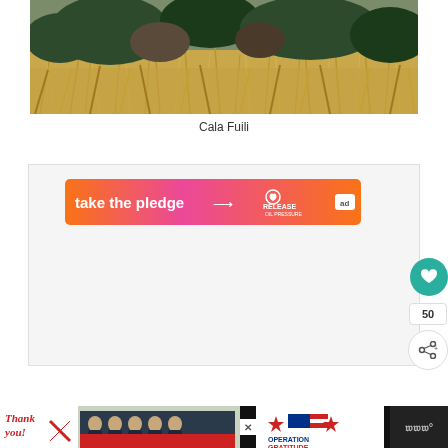[Figure (photo): Photograph of dry golden grasses and dark green shrubs/trees in a natural landscape setting — Cala Fuili]
Cala Fuili
[Figure (infographic): Advertisement banner with gradient orange-to-pink background reading 'take the pledge' with an arrow, Release logo with heart icon, and 'ad' badge]
[Figure (infographic): Bottom banner ad with 'Thank you!' text, Operation Gratitude logo, firefighters photo on dark background, and close button]
50